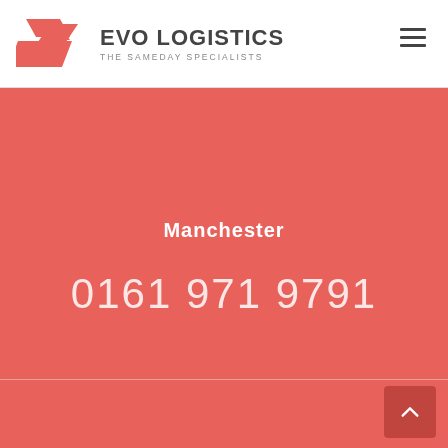[Figure (logo): Evo Logistics logo: red parallelogram arrow shapes on left, company name EVO LOGISTICS in dark grey bold uppercase, tagline THE SAMEDAY SPECIALISTS in grey small caps below]
Manchester
0161 971 9791